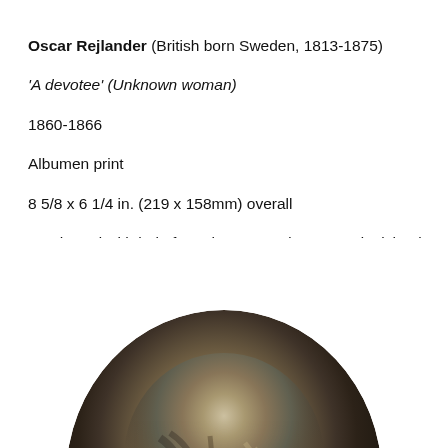Oscar Rejlander (British born Sweden, 1813-1875)
'A devotee' (Unknown woman)
1860-1866
Albumen print
8 5/8 x 6 1/4 in. (219 x 158mm) overall
Purchased with help from the Art Fund, Jane and Michael Wilson and Stephen Barry, 2015
© National Portrait Gallery, London
[Figure (photo): Oval-format albumen print photograph showing the top portion of a woman's head and shoulders, cropped at the bottom edge. The image is sepia-toned with dark hair and period clothing visible.]